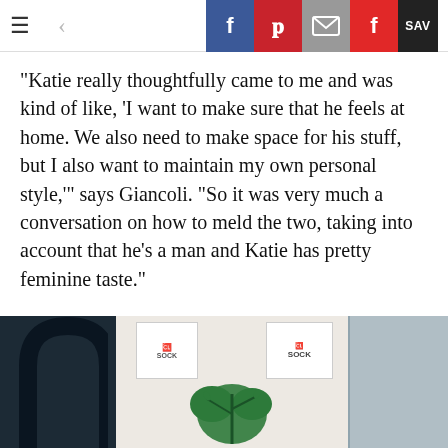Navigation bar with hamburger menu, back arrow, and social share buttons: Facebook, Pinterest, Email, Flipboard, Save
"Katie really thoughtfully came to me and was kind of like, 'I want to make sure that he feels at home. We also need to make space for his stuff, but I also want to maintain my own personal style,'" says Giancoli. "So it was very much a conversation on how to meld the two, taking into account that he's a man and Katie has pretty feminine taste."
The primary objective? A new couch for the living room.
[Figure (photo): Photo strip showing interior decor items including a dark chair arm on left, wall art with 'SOCK' text and a green monstera leaf plant in center, and a partial blue/grey panel on the right.]